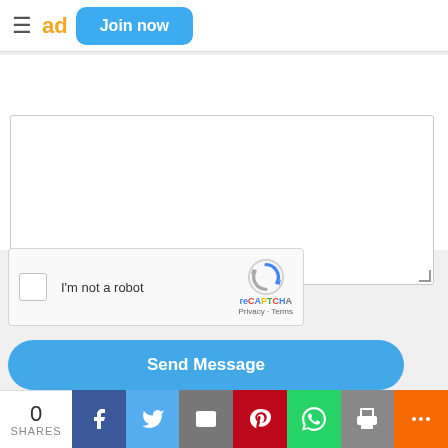≡ ad  Join now
[Figure (screenshot): A contact form textarea with resize handle, and a reCAPTCHA widget showing checkbox, 'I'm not a robot' label, and reCAPTCHA logo with Privacy and Terms links]
Send Message
Service Areas (1)
[Figure (infographic): Social share bar showing 0 SHARES count, and icons for Facebook, Twitter, Email, Pinterest, WhatsApp, Print, and More]